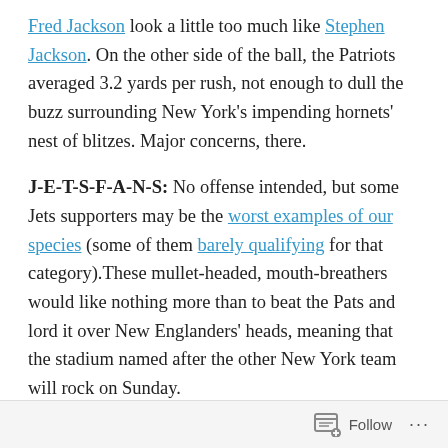Fred Jackson look a little too much like Stephen Jackson. On the other side of the ball, the Patriots averaged 3.2 yards per rush, not enough to dull the buzz surrounding New York's impending hornets' nest of blitzes. Major concerns, there.
J-E-T-S-F-A-N-S: No offense intended, but some Jets supporters may be the worst examples of our species (some of them barely qualifying for that category).These mullet-headed, mouth-breathers would like nothing more than to beat the Pats and lord it over New Englanders' heads, meaning that the stadium named after the other New York team will rock on Sunday.
Follow ...